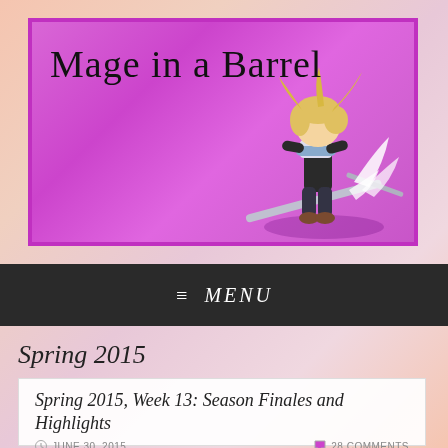[Figure (illustration): Blog header banner with purple/magenta background, handwritten-style text 'Mage in a Barrel' and an anime character (blonde, sitting) on the right side]
≡ MENU
Spring 2015
Spring 2015, Week 13: Season Finales and Highlights
JUNE 30, 2015   28 COMMENTS